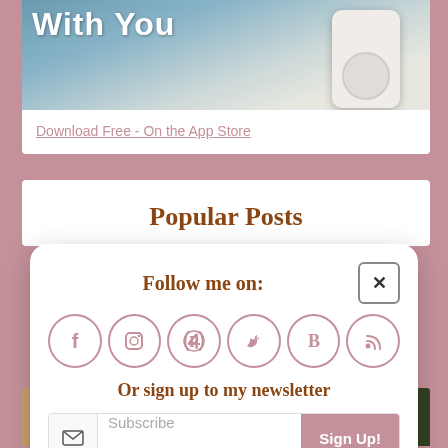[Figure (photo): Partial view of phone being held, with title text 'With You' visible, and some text on screen]
Download Free - On the App Store
Popular Posts
Follow me on:
[Figure (infographic): Six social media icon circles: Facebook, Instagram, Pinterest, Twitter, Bloglovin, RSS]
Or sign up to my newsletter
Subscribe
Sign Up!
[Figure (photo): Bottom partial photo showing a passport and travel items]